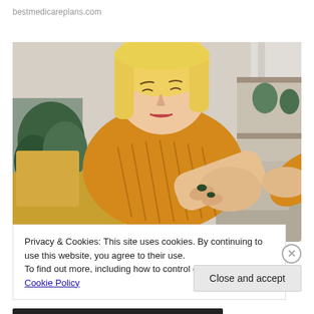bestmedicareplans.com
[Figure (photo): A blonde woman in a yellow knit sweater sitting on a couch, looking at her arm/elbow with a concerned expression. Green plants visible in background.]
Privacy & Cookies: This site uses cookies. By continuing to use this website, you agree to their use.
To find out more, including how to control cookies, see here: Cookie Policy
Close and accept